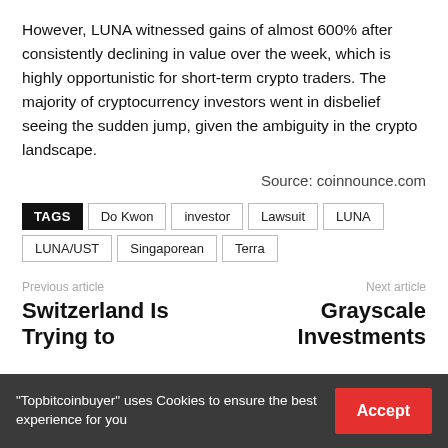However, LUNA witnessed gains of almost 600% after consistently declining in value over the week, which is highly opportunistic for short-term crypto traders. The majority of cryptocurrency investors went in disbelief seeing the sudden jump, given the ambiguity in the crypto landscape.
Source: coinnounce.com
TAGS  Do Kwon  investor  Lawsuit  LUNA  LUNA/UST  Singaporean  Terra
Previous article
Switzerland Is Trying to
Next article
Grayscale Investments
"Topbitcoinbuyer" uses Cookies to ensure the best experience for you